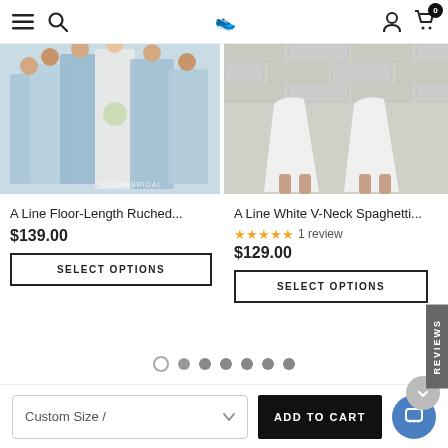Navigation header with menu, search, logo, user and cart icons
[Figure (photo): Product photo of light blue floor-length bridesmaid dresses, multiple bridesmaids, with ROMANBRIDAL watermark]
A Line Floor-Length Ruched...
$139.00
SELECT OPTIONS
[Figure (photo): Product photo of white short V-neck spaghetti strap dresses, two people standing against brick wall]
A Line White V-Neck Spaghetti...
★★★★★ 1 review
$129.00
SELECT OPTIONS
REVIEWS
Pagination dots: 1 empty, 6 filled
Custom Size /
ADD TO CART